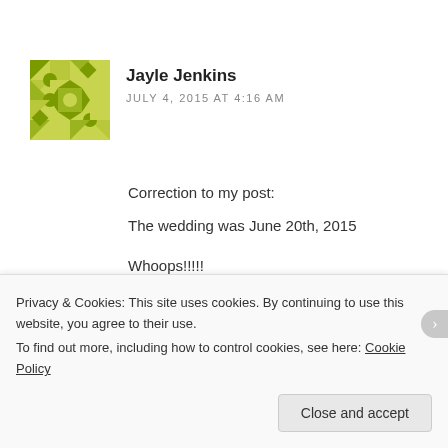[Figure (illustration): Yellow/green geometric patterned avatar icon for user Jayle Jenkins]
Jayle Jenkins
JULY 4, 2015 AT 4:16 AM
Correction to my post:
The wedding was June 20th, 2015

Whoops!!!!!
Like
Privacy & Cookies: This site uses cookies. By continuing to use this website, you agree to their use.
To find out more, including how to control cookies, see here: Cookie Policy
Close and accept